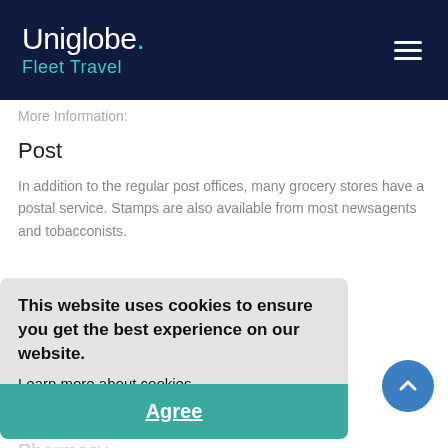Uniglobe. Fleet Travel
More Information:
Post
In addition to the regular post offices, many grocery stores have a postal service. Stamps are also available from most newsagents and tobacconists.
This website uses cookies to ensure you get the best experience on our website.
Learn more about cookies
Agree
More Information:
Pharmacy